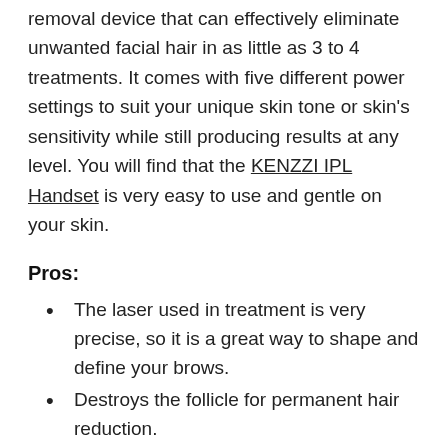removal device that can effectively eliminate unwanted facial hair in as little as 3 to 4 treatments. It comes with five different power settings to suit your unique skin tone or skin's sensitivity while still producing results at any level. You will find that the KENZZI IPL Handset is very easy to use and gentle on your skin.
Pros:
The laser used in treatment is very precise, so it is a great way to shape and define your brows.
Destroys the follicle for permanent hair reduction.
Adverse effects are minimal and short-lasting.
No more cuts, burns, or ingrown hairs, which are common side effects of other popular hair